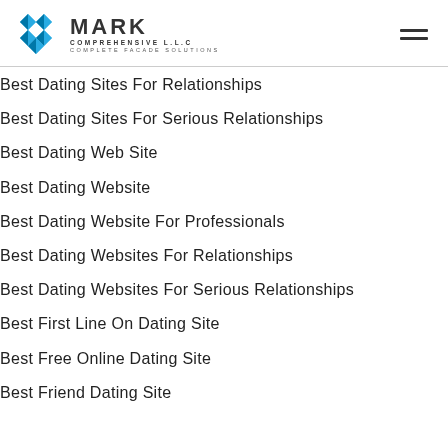MARK COMPREHENSIVE L.L.C COMPLETE FACADE SOLUTIONS
Best Dating Sites For Relationships
Best Dating Sites For Serious Relationships
Best Dating Web Site
Best Dating Website
Best Dating Website For Professionals
Best Dating Websites For Relationships
Best Dating Websites For Serious Relationships
Best First Line On Dating Site
Best Free Online Dating Site
Best Friend Dating Site